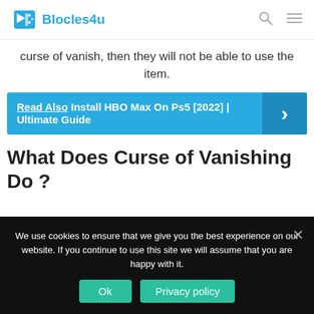Blocles4u
curse of vanish, then they will not be able to use the item.
Read Also  Install HBO Max On Ps5 [2022] | Ultimate Guide
What Does Curse of Vanishing Do ?
We use cookies to ensure that we give you the best experience on our website. If you continue to use this site we will assume that you are happy with it.